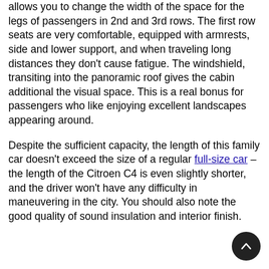allows you to change the width of the space for the legs of passengers in 2nd and 3rd rows. The first row seats are very comfortable, equipped with armrests, side and lower support, and when traveling long distances they don't cause fatigue. The windshield, transiting into the panoramic roof gives the cabin additional the visual space. This is a real bonus for passengers who like enjoying excellent landscapes appearing around.
Despite the sufficient capacity, the length of this family car doesn't exceed the size of a regular full-size car – the length of the Citroen C4 is even slightly shorter, and the driver won't have any difficulty in maneuvering in the city. You should also note the good quality of sound insulation and interior finish.